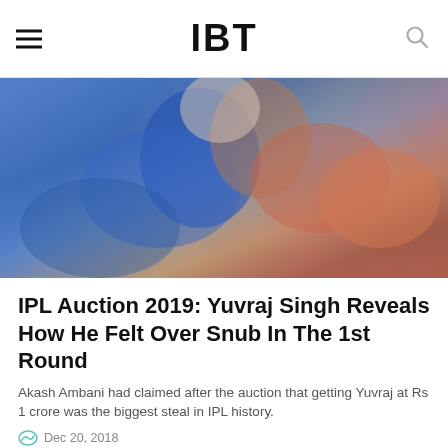IBT
[Figure (photo): Cricket player in blue jersey holding bat, blurred action shot]
IPL Auction 2019: Yuvraj Singh Reveals How He Felt Over Snub In The 1st Round
Akash Ambani had claimed after the auction that getting Yuvraj at Rs 1 crore was the biggest steal in IPL history.
Dec 20, 2018
[Figure (photo): Person with dark hair, close-up portrait, dark background]